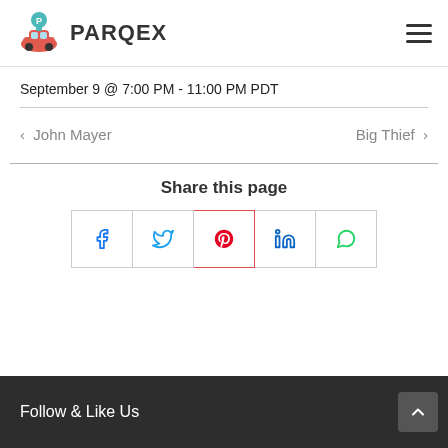PARQEX
September 9 @ 7:00 PM - 11:00 PM PDT
< John Mayer    Big Thief >
Share this page
[Figure (infographic): Social share buttons: Facebook, Twitter, Pinterest, LinkedIn, WhatsApp]
Follow & Like Us